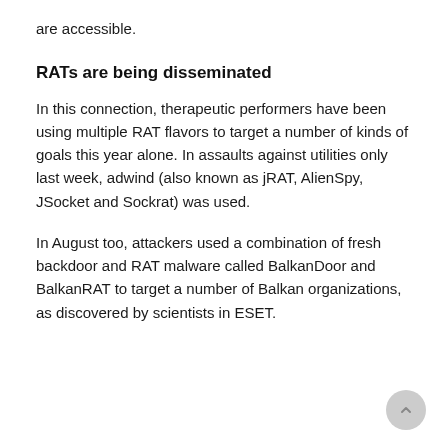are accessible.
RATs are being disseminated
In this connection, therapeutic performers have been using multiple RAT flavors to target a number of kinds of goals this year alone. In assaults against utilities only last week, adwind (also known as jRAT, AlienSpy, JSocket and Sockrat) was used.
In August too, attackers used a combination of fresh backdoor and RAT malware called BalkanDoor and BalkanRAT to target a number of Balkan organizations, as discovered by scientists in ESET.